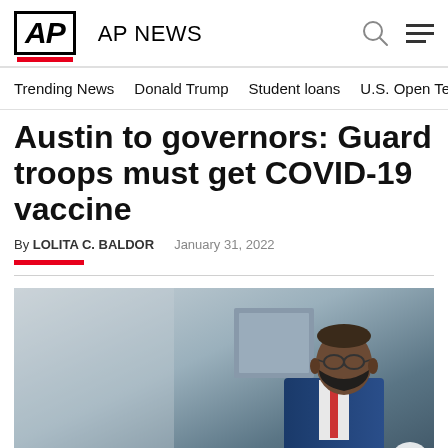AP NEWS
Trending News    Donald Trump    Student loans    U.S. Open Tenn
Austin to governors: Guard troops must get COVID-19 vaccine
By LOLITA C. BALDOR    January 31, 2022
[Figure (photo): A man wearing a black face mask and glasses in a suit, photographed indoors in front of a blurred background.]